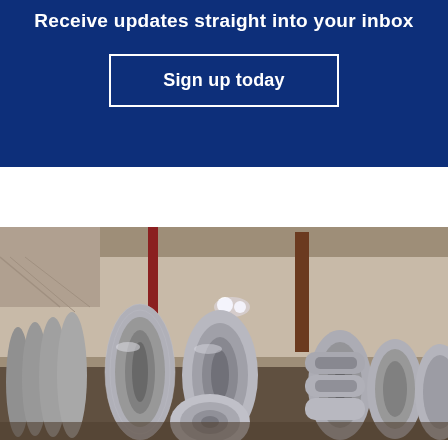Receive updates straight into your inbox
Sign up today
[Figure (photo): Industrial warehouse interior with large steel coils arranged in rows on the floor, with overhead lights illuminating the space and steel structure visible in the background.]